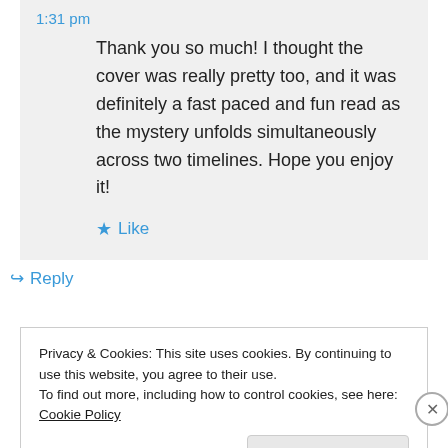1:31 pm
Thank you so much! I thought the cover was really pretty too, and it was definitely a fast paced and fun read as the mystery unfolds simultaneously across two timelines. Hope you enjoy it!
★ Like
↳ Reply
Privacy & Cookies: This site uses cookies. By continuing to use this website, you agree to their use.
To find out more, including how to control cookies, see here: Cookie Policy
Close and accept